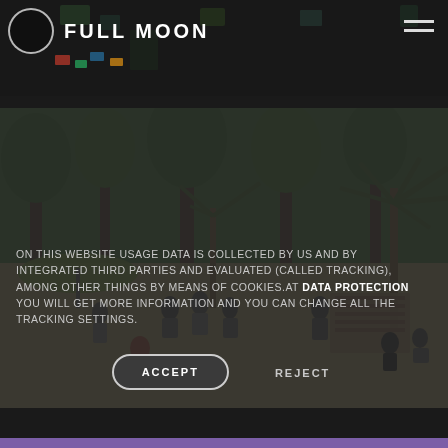[Figure (screenshot): Website header with dark background texture showing scattered colorful shapes, a circular logo outline on the left, 'FULL MOON' text in white, and hamburger menu icon on the right]
[Figure (photo): Outdoor beach bar/restaurant scene with people socializing on sandy ground, palm trees, green umbrella, trees in background, wooden furniture]
ON THIS WEBSITE USAGE DATA IS COLLECTED BY US AND BY INTEGRATED THIRD PARTIES AND EVALUATED (CALLED TRACKING), AMONG OTHER THINGS BY MEANS OF COOKIES.AT DATA PROTECTION YOU WILL GET MORE INFORMATION AND YOU CAN CHANGE ALL THE TRACKING SETTINGS.
ACCEPT
REJECT